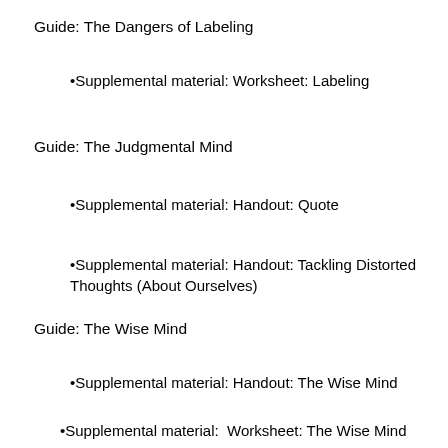Guide: The Dangers of Labeling
Supplemental material: Worksheet: Labeling
Guide: The Judgmental Mind
Supplemental material: Handout: Quote
Supplemental material: Handout: Tackling Distorted Thoughts (About Ourselves)
Guide: The Wise Mind
Supplemental material: Handout: The Wise Mind
Supplemental material:  Worksheet: The Wise Mind